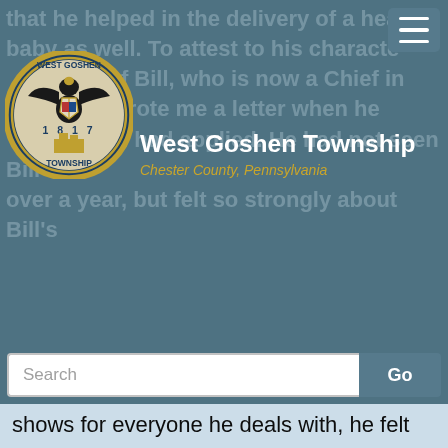West Goshen Township — Chester County, Pennsylvania
that he helped in the delivery of a healthy baby as well. To attest to his character, a captain of Bill, who is now a Chief in the agency, wrote me a letter when he heard Bill had applied. He had not seen Bill in over a year, but felt so strongly about Bill's
shows for everyone he deals with, he felt compelled to write an unsolicited letter of support for Bill.
Bill is married to Lisa and they have a one-year old son, Kip.
Magisterial District Justice Martin Goch administered the Oaths of Office to our Honorees.